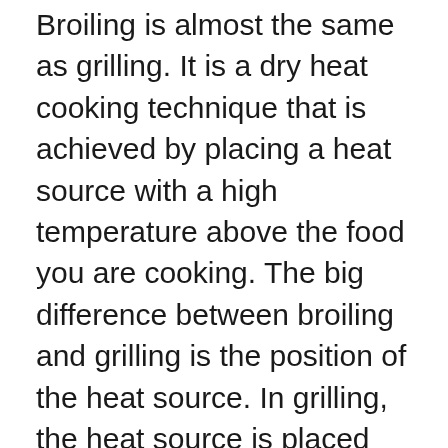Broiling is almost the same as grilling. It is a dry heat cooking technique that is achieved by placing a heat source with a high temperature above the food you are cooking. The big difference between broiling and grilling is the position of the heat source. In grilling, the heat source is placed below the food while in broiling, it is placed above the food.
One popular meal cooked by broiling is broiled chicken. It is a whole chicken dressed with herbs and spices, then put into the oven and cooked with just the heat source above the chicken. The result is a